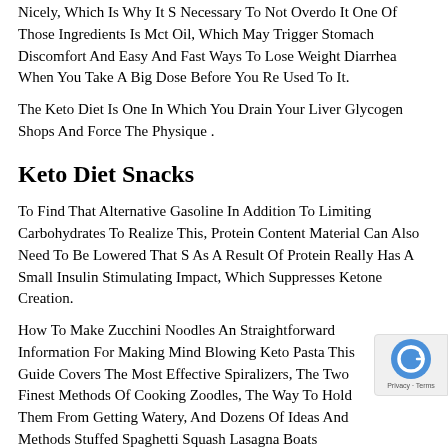Nicely, Which Is Why It S Necessary To Not Overdo It One Of Those Ingredients Is Mct Oil, Which May Trigger Stomach Discomfort And Easy And Fast Ways To Lose Weight Diarrhea When You Take A Big Dose Before You Re Used To It.
The Keto Diet Is One In Which You Drain Your Liver Glycogen Shops And Force The Physique .
Keto Diet Snacks
To Find That Alternative Gasoline In Addition To Limiting Carbohydrates To Realize This, Protein Content Material Can Also Need To Be Lowered That S As A Result Of Protein Really Has A Small Insulin Stimulating Impact, Which Suppresses Ketone Creation.
How To Make Zucchini Noodles An Straightforward Information For Making Mind Blowing Keto Pasta This Guide Covers The Most Effective Spiralizers, The Two Finest Methods Of Cooking Zoodles, The Way To Hold Them From Getting Watery, And Dozens Of Ideas And Methods Stuffed Spaghetti Squash Lasagna Boats Spaghetti Squash Bulks Up This Recipe, Making It Completely Filling Without The Extra Carbs.
My Mission Is To Assist You Reach Your Objectives, Whether Or